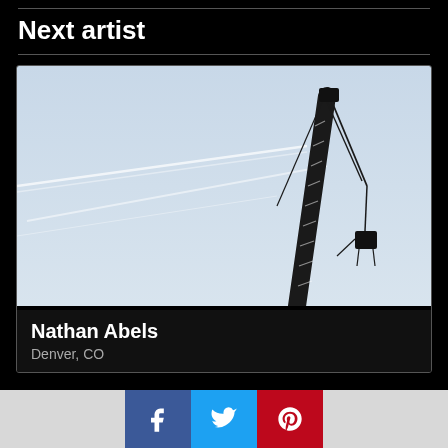Next artist
[Figure (photo): A construction crane silhouetted against a pale blue sky with white contrail streaks. The crane boom extends diagonally with cables and a load hanging from it.]
Nathan Abels
Denver, CO